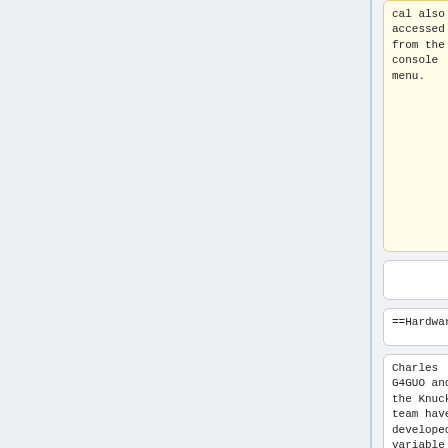cal also be accessed from the ssh console menu.
==Hardware==
==Hardware==
Charles G4GUO and the Knucker team have developed a variable bandwidth DVB-T receiver with USB interface around the Serit 4762
Charles G4GUO and the Knucker team have developed a variable bandwidth DVB-T receiver with USB interface around the Serit 4762